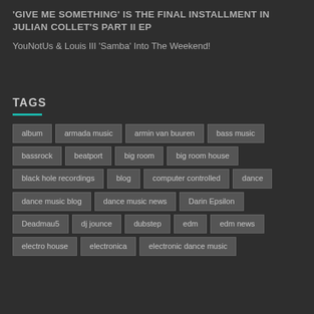'GIVE ME SOMETHING' IS THE FINAL INSTALLMENT IN JULIAN COLLET'S PART II EP
YouNotUs & Louis III 'Samba' Into The Weekend!
TAGS
album
armada music
armin van buuren
bass music
bassrock
beatport
big room
big room house
black hole recordings
blog
computer controlled
dance
dance music blog
dance music news
Darin Epsilon
Deadmau5
dj jounce
dubstep
edm
edm news
electro house
electronica
electronic dance music